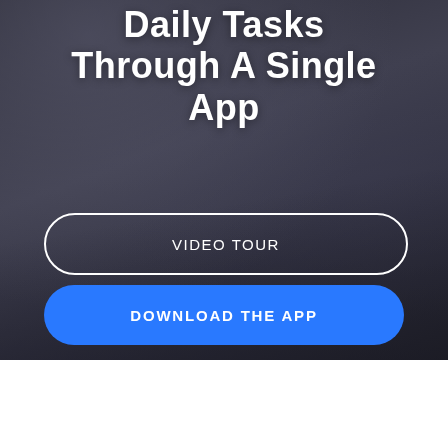[Figure (photo): Dark background photo of a laptop on a desk with a mug, with a dark overlay/tint giving a moody tech app promotion feel.]
Daily Tasks Through A Single App
VIDEO TOUR
DOWNLOAD THE APP